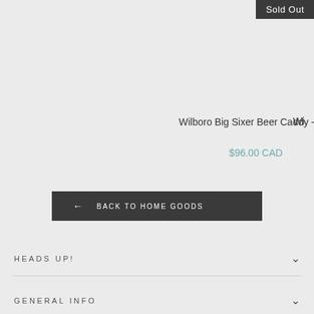Sold Out
Wilboro Big Sixer Beer Caddy - Tan
$96.00 CAD
Wi
← BACK TO HOME GOODS
HEADS UP!
GENERAL INFO